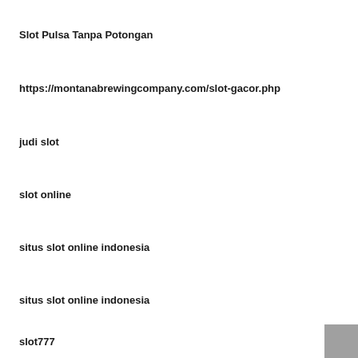Slot Pulsa Tanpa Potongan
https://montanabrewingcompany.com/slot-gacor.php
judi slot
slot online
situs slot online indonesia
situs slot online indonesia
slot777